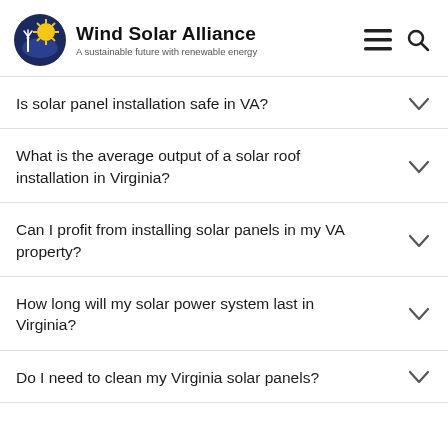Wind Solar Alliance — A sustainable future with renewable energy
Is solar panel installation safe in VA?
What is the average output of a solar roof installation in Virginia?
Can I profit from installing solar panels in my VA property?
How long will my solar power system last in Virginia?
Do I need to clean my Virginia solar panels?